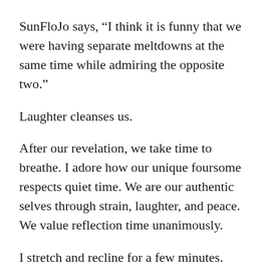SunFloJo says, “I think it is funny that we were having separate meltdowns at the same time while admiring the opposite two.”
Laughter cleanses us.
After our revelation, we take time to breathe. I adore how our unique foursome respects quiet time. We are our authentic selves through strain, laughter, and peace. We value reflection time unanimously.
I stretch and recline for a few minutes.
Sunshine Rat breaks our silence, “Stalker C, we haven’t hit our goal yet. We’ve only got one trail left,”
Sunshine turns to the older of us and says, “We thought